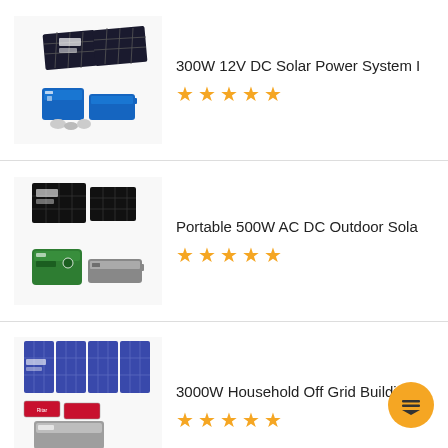[Figure (photo): Solar power system kit with panels, battery, inverter and accessories]
300W 12V DC Solar Power System I
★★★★★ (5 stars)
[Figure (photo): Portable solar system with black panels, green inverter and battery]
Portable 500W AC DC Outdoor Sola
★★★★★ (5 stars)
[Figure (photo): 3000W household off-grid solar system with panels, batteries and green inverter]
3000W Household Off Grid Building
★★★★★ (5 stars)